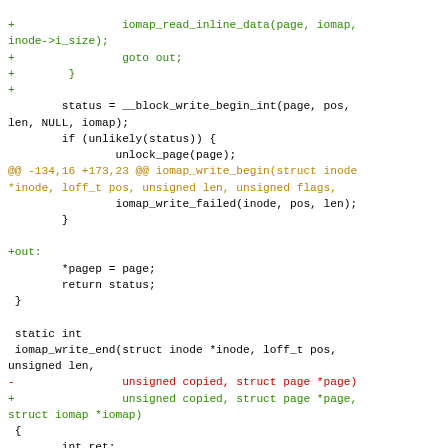[Figure (screenshot): Code diff showing iomap write begin and write end functions with added (green), removed (red), and context (black) lines, and a hunk header in orange.]